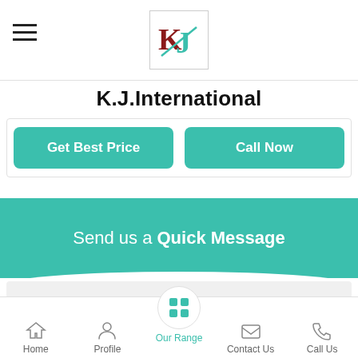[Figure (logo): KJ International logo with stylized K and J letters in dark red and teal]
K.J.International
Get Best Price
Call Now
Send us a Quick Message
Tell us about your requirement
Home  Profile  Our Range  Contact Us  Call Us